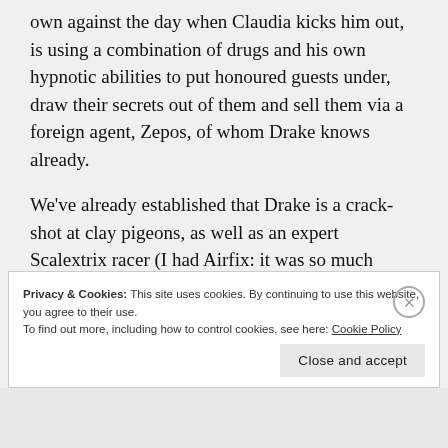own against the day when Claudia kicks him out, is using a combination of drugs and his own hypnotic abilities to put honoured guests under, draw their secrets out of them and sell them via a foreign agent, Zepos, of whom Drake knows already.
We've already established that Drake is a crack-shot at clay pigeons, as well as an expert Scalextrix racer (I had Airfix: it was so much better) so it's inevitable that gets gets roped into the titular Hunting Party where, between Basil and Zepos, a tragic accident will occur. However, series stars are always on the alert for tragic accidents and chance
Privacy & Cookies: This site uses cookies. By continuing to use this website, you agree to their use.
To find out more, including how to control cookies, see here: Cookie Policy